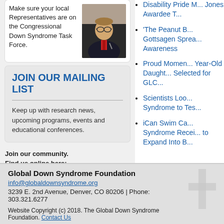Make sure your local Representatives are on the Congressional Down Syndrome Task Force.
[Figure (photo): A man in a suit with glasses speaking at a hearing or event]
JOIN OUR MAILING LIST
Keep up with research news, upcoming programs, events and educational conferences.
Join our community.
Find us online here:
[Figure (infographic): Social media icons: Facebook (blue), Twitter (light blue), YouTube (red), Instagram (gradient)]
Disability Pride M... Jones Awardee T...
'The Peanut B... Gottsagen Sprea... Awareness
Proud Momen... Year-Old Daught... Selected for GLC...
Scientists Loo... Syndrome to Tes...
iCan Swim Ca... Syndrome Recei... to Expand Into B...
Global Down Syndrome Foundation
info@globaldownsyndrome.org
3239 E. 2nd Avenue, Denver, CO 80206 | Phone: 303.321.6277

Website Copyright (c) 2018. The Global Down Syndrome Foundation. Contact Us